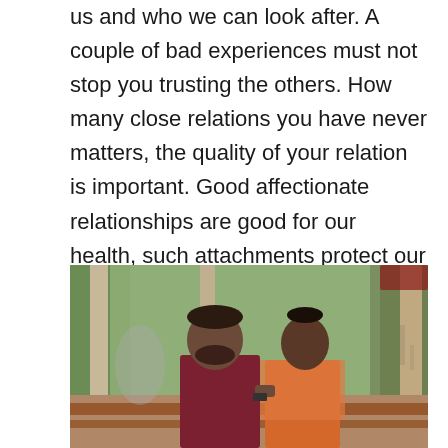us and who we can look after. A couple of bad experiences must not stop you trusting the others. How many close relations you have never matters, the quality of your relation is important. Good affectionate relationships are good for our health, such attachments protect our brain.
[Figure (photo): A man and woman sitting outdoors in a park-like setting with trees and greenery in the background. The woman has dark hair in a bun and is wearing a floral outfit; the man has a beard and is wearing a maroon t-shirt.]